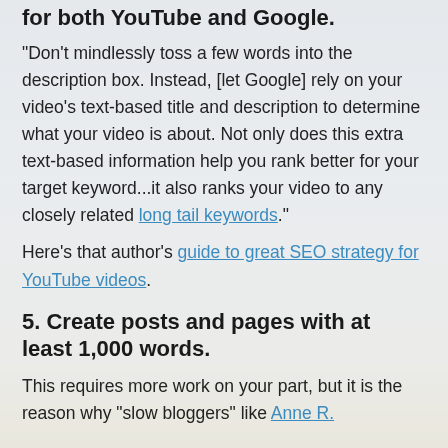for both YouTube and Google.
"Don't mindlessly toss a few words into the description box. Instead, [let Google] rely on your video's text-based title and description to determine what your video is about. Not only does this extra text-based information help you rank better for your target keyword...it also ranks your video to any closely related long tail keywords."
Here's that author's guide to great SEO strategy for YouTube videos.
5. Create posts and pages with at least 1,000 words.
This requires more work on your part, but it is the reason why "slow bloggers" like Anne R.